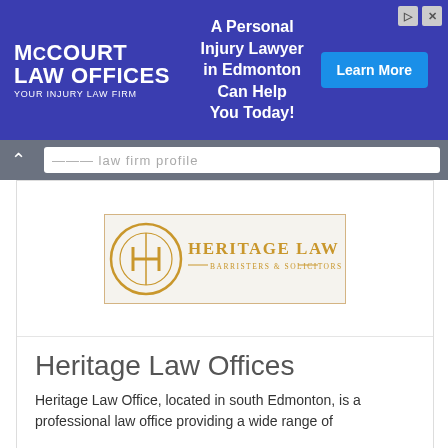[Figure (screenshot): McCourt Law Offices advertisement banner — blue background with text 'A Personal Injury Lawyer in Edmonton Can Help You Today!' and a 'Learn More' button]
[Figure (logo): Heritage Law Offices — Barristers & Solicitors logo with golden circular H emblem]
Heritage Law Offices
Heritage Law Office, located in south Edmonton, is a professional law office providing a wide range of